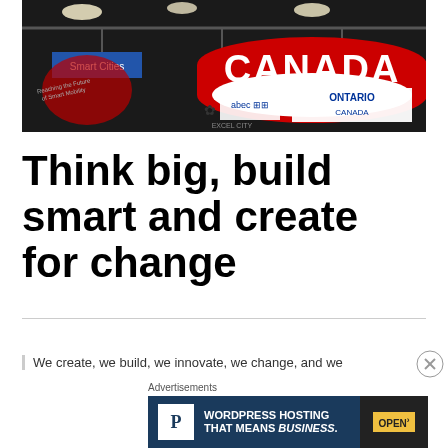[Figure (photo): Photo of a trade show booth with a red circular overhead banner reading 'CANADA', with 'Smart Cities' sign on the left, and logos for Québec (abec) and Ontario Canada visible below.]
Think big, build smart and create for change
We create, we build, we innovate, we change, and we
Advertisements
[Figure (screenshot): Advertisement banner for WordPress Hosting: blue background with a white P icon, text 'WORDPRESS HOSTING THAT MEANS BUSINESS.' and a photo of an OPEN sign.]